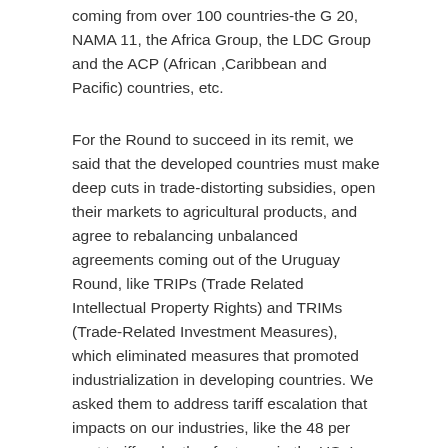coming from over 100 countries-the G 20, NAMA 11, the Africa Group, the LDC Group and the ACP (African ,Caribbean and Pacific) countries, etc.
For the Round to succeed in its remit, we said that the developed countries must make deep cuts in trade-distorting subsidies, open their markets to agricultural products, and agree to rebalancing unbalanced agreements coming out of the Uruguay Round, like TRIPs (Trade Related Intellectual Property Rights) and TRIMs (Trade-Related Investment Measures), which eliminated measures that promoted industrialization in developing countries. We asked them to address tariff escalation that impacts on our industries, like the 48 per cent tariff on leather footwear in the US. In services, we wanted the developed countries to show flexibility when it came to